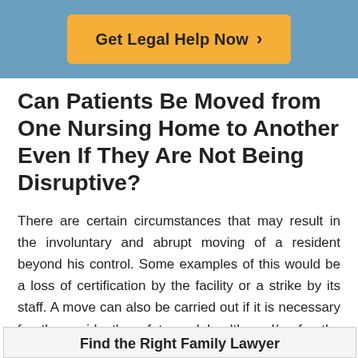[Figure (other): Yellow button with text 'Get Legal Help Now >' on a blue banner background]
Can Patients Be Moved from One Nursing Home to Another Even If They Are Not Being Disruptive?
There are certain circumstances that may result in the involuntary and abrupt moving of a resident beyond his control. Some examples of this would be a loss of certification by the facility or a strike by its staff. A move can also be carried out if it is necessary for the resident's safety and health and/or for the safety and health of others. In these cases, special arrangements are typically made to transfer the resident to other housing accommodations.
Find the Right Family Lawyer